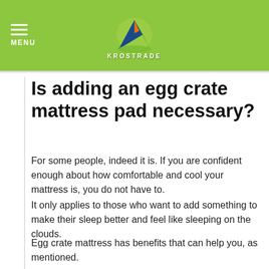MENU | KROSTRADE
Is adding an egg crate mattress pad necessary?
For some people, indeed it is. If you are confident enough about how comfortable and cool your mattress is, you do not have to.
It only applies to those who want to add something to make their sleep better and feel like sleeping on the clouds.
Egg crate mattress has benefits that can help you, as mentioned.
It can relax your body well, it gives a message-type feeling, and its bumps give off satisfaction.